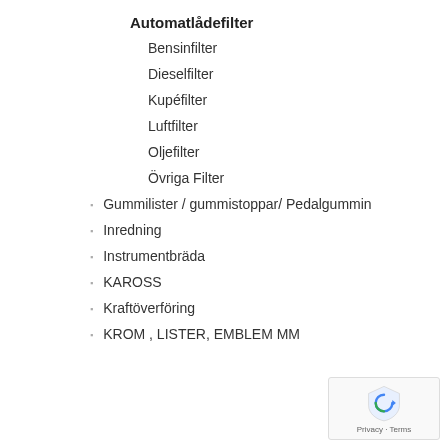Automatlådefilter
Bensinfilter
Dieselfilter
Kupéfilter
Luftfilter
Oljefilter
Övriga Filter
Gummilister / gummistoppar/ Pedalgummin
Inredning
Instrumentbräda
KAROSS
Kraftöverföring
KROM , LISTER, EMBLEM MM